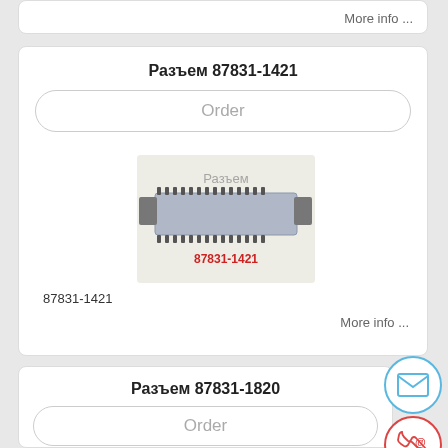More info ...
Разъем 87831-1421
Order
[Figure (photo): Photo of connector 87831-1421 with watermark text 'Разъем' and red label '87831-1421']
87831-1421
More info ...
Разъем 87831-1820
Order
[Figure (photo): Photo of connector 87831-1820 with watermark text 'Разъем']
[Figure (illustration): Email contact icon - envelope in blue circle]
[Figure (illustration): Phone/email contact icon - phone with @ symbol in red circle]